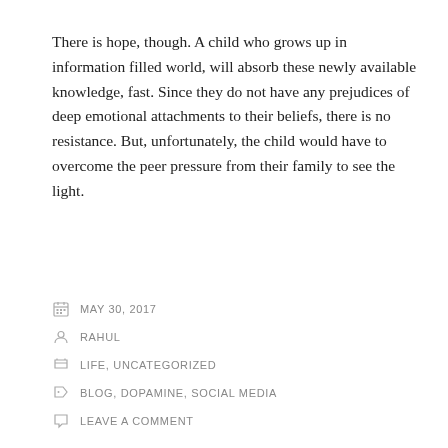There is hope, though. A child who grows up in information filled world, will absorb these newly available knowledge, fast. Since they do not have any prejudices of deep emotional attachments to their beliefs, there is no resistance. But, unfortunately, the child would have to overcome the peer pressure from their family to see the light.
MAY 30, 2017
RAHUL
LIFE, UNCATEGORIZED
BLOG, DOPAMINE, SOCIAL MEDIA
LEAVE A COMMENT